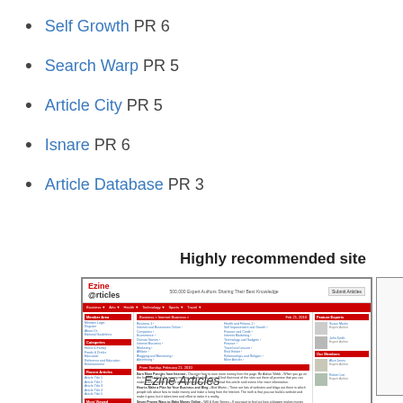Self Growth PR 6
Search Warp PR 5
Article City PR 5
Isnare PR 6
Article Database PR 3
Highly recommended site
[Figure (screenshot): Screenshot of EzineArticles.com website showing the homepage with red header navigation, category listings in columns, article content area, and author expert photos in right sidebar]
Ezine Articles